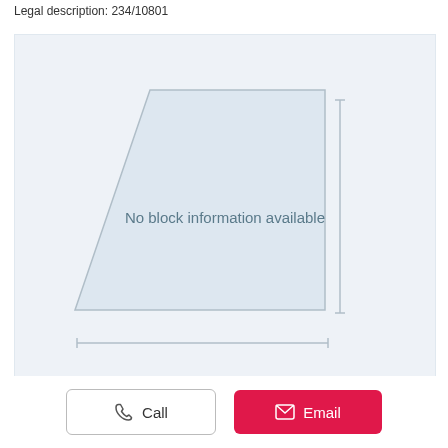Legal description: 234/10801
[Figure (other): A land block diagram with a trapezoidal/irregular polygon shape outlined in light gray on a light blue-gray background. Measurement lines with arrows appear at the bottom and right side. Center text reads 'No block information available'. The block shape has a wider top and narrows toward the bottom-left.]
Call
Email